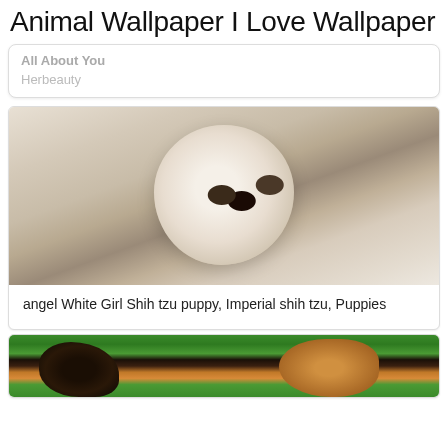Animal Wallpaper I Love Wallpaper
All About You
Herbeauty
[Figure (photo): White Shih tzu puppy lying down, fluffy white fur, dark eyes and nose, looking at camera]
angel White Girl Shih tzu puppy, Imperial shih tzu, Puppies
[Figure (photo): Two puppies on green grass, one black and one brown/tan colored, partially visible at bottom of page]